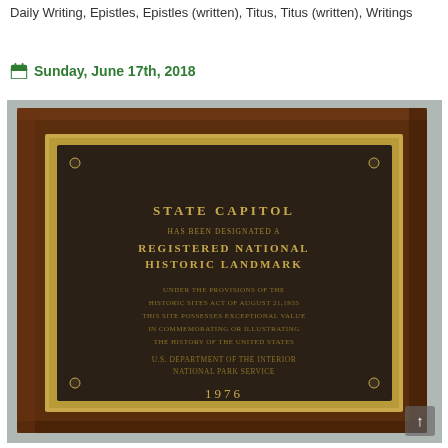Daily Writing, Epistles, Epistles (written), Titus, Titus (written), Writings
Sunday, June 17th, 2018
[Figure (photo): A framed bronze plaque mounted on a wooden frame. The plaque reads: STATE CAPITOL HAS BEEN DESIGNATED A REGISTERED NATIONAL HISTORIC LANDMARK UNDER THE PROVISIONS OF THE HISTORIC SITES ACT OF AUGUST 21,1935 THIS SITE POSSESSES EXCEPTIONAL VALUE IN COMMEMORATING OR ILLUSTRATING THE HISTORY OF THE UNITED STATES. U.S. DEPARTMENT OF THE INTERIOR NATIONAL PARK SERVICE 1976]